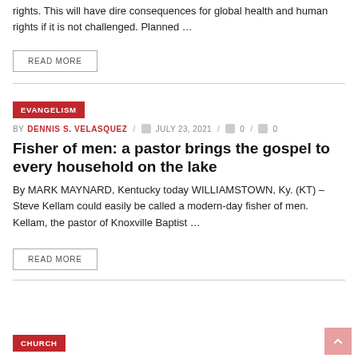rights. This will have dire consequences for global health and human rights if it is not challenged. Planned …
READ MORE
EVANGELISM
BY DENNIS S. VELASQUEZ / JULY 23, 2021 / 0 / 0
Fisher of men: a pastor brings the gospel to every household on the lake
By MARK MAYNARD, Kentucky today WILLIAMSTOWN, Ky. (KT) – Steve Kellam could easily be called a modern-day fisher of men. Kellam, the pastor of Knoxville Baptist …
READ MORE
CHURCH